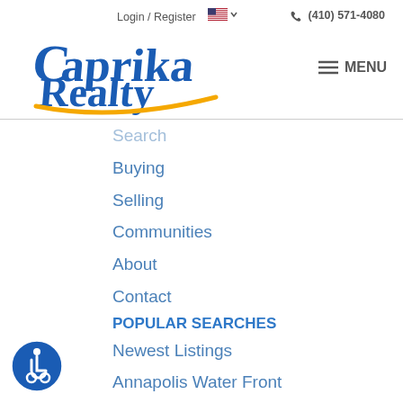Login / Register   (410) 571-4080
[Figure (logo): Caprika Realty logo with blue cursive text and gold swoosh underline, with hamburger menu icon and MENU text]
Search
Buying
Selling
Communities
About
Contact
POPULAR SEARCHES
Newest Listings
Annapolis Water Front
Featured Listings
Condos & Townhomes
Luxury Homes